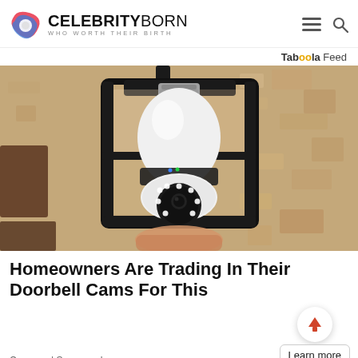CELEBRITYBORN WHO WORTH THEIR BIRTH
Taboola Feed
[Figure (photo): A security camera disguised as a light bulb installed inside a black outdoor wall lantern fixture on a textured beige stucco wall. The camera has a white dome body with a circular lens and LED lights at the bottom.]
Homeowners Are Trading In Their Doorbell Cams For This
Camerca | Sponsored